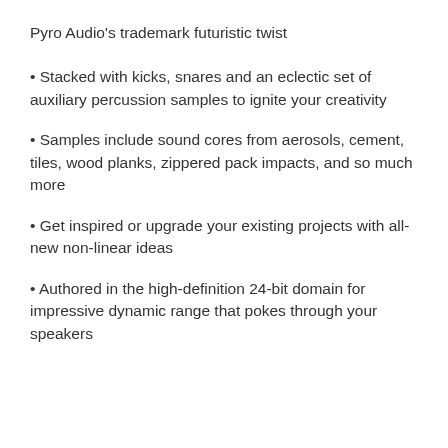Pyro Audio's trademark futuristic twist
Stacked with kicks, snares and an eclectic set of auxiliary percussion samples to ignite your creativity
Samples include sound cores from aerosols, cement, tiles, wood planks, zippered pack impacts, and so much more
Get inspired or upgrade your existing projects with all-new non-linear ideas
Authored in the high-definition 24-bit domain for impressive dynamic range that pokes through your speakers